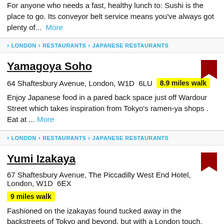For anyone who needs a fast, healthy lunch to: Sushi is the place to go. Its conveyor belt service means you've always got plenty of... More
LONDON > RESTAURANTS > JAPANESE RESTAURANTS
Yamagoya Soho
64 Shaftesbury Avenue, London, W1D 6LU  8.9 miles walk
Enjoy Japanese food in a pared back space just off Wardour Street which takes inspiration from Tokyo's ramen-ya shops . Eat at ... More
LONDON > RESTAURANTS > JAPANESE RESTAURANTS
Yumi Izakaya
67 Shaftesbury Avenue, The Piccadilly West End Hotel, London, W1D 6EX  9 miles walk
Fashioned on the izakayas found tucked away in the backstreets of Tokyo and beyond, but with a London touch, Yumi Izakaya ... More